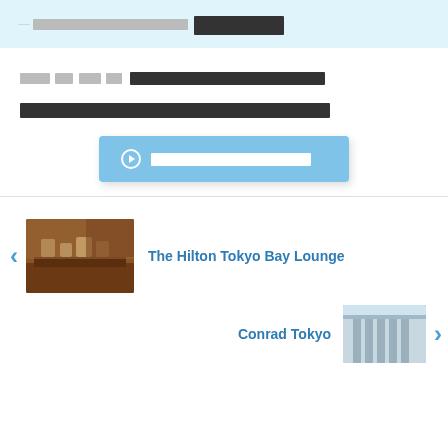— [redacted] [redacted bold title]
[redacted] [redacted bold text]
[redacted bold text paragraph]
➤ [redacted button text]
[Figure (photo): Photo of a buffet/lounge setup at a hotel, warm brown tones]
The Hilton Tokyo Bay Lounge
[Figure (photo): Photo of Conrad Tokyo hotel exterior/interior]
Conrad Tokyo